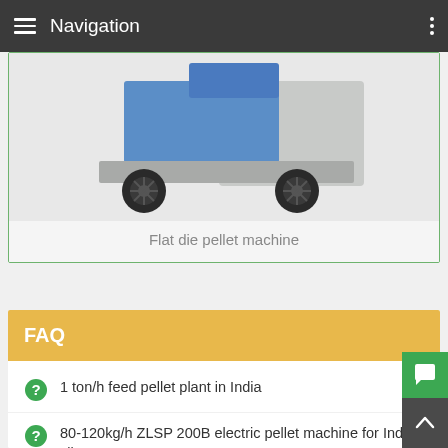Navigation
[Figure (photo): Flat die pellet machine — a wheeled industrial pellet machine with blue and grey body, shown from the side]
Flat die pellet machine
FAQ
1 ton/h feed pellet plant in India
80-120kg/h ZLSP 200B electric pellet machine for India client
Small Set of Rice Husk Pellet Making Machine Exported to France